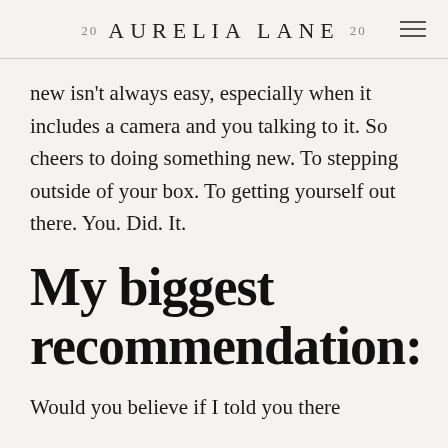20 AURELIA LANE 20
new isn't always easy, especially when it includes a camera and you talking to it. So cheers to doing something new. To stepping outside of your box. To getting yourself out there. You. Did. It.
My biggest recommendation:
Would you believe if I told you there